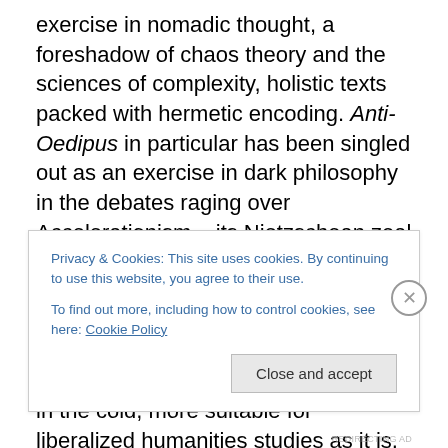exercise in nomadic thought, a foreshadow of chaos theory and the sciences of complexity, holistic texts packed with hermetic encoding. Anti-Oedipus in particular has been singled out as an exercise in dark philosophy in the debates raging over Accelerationism – its Nietzschean zeal for destruction and its prioritization of capitalism's decoding flows. In this backwards-grafting of Lyotard's Libidinal Economy onto the text, A Thousand Plateaus often gets left out in the cold, more suitable for liberalized humanities studies as it is, particularly for Nick Land, a moralizing misstep and pivot away from Anti-Oedipus's
Privacy & Cookies: This site uses cookies. By continuing to use this website, you agree to their use. To find out more, including how to control cookies, see here: Cookie Policy
Close and accept
REDIRECTING AD